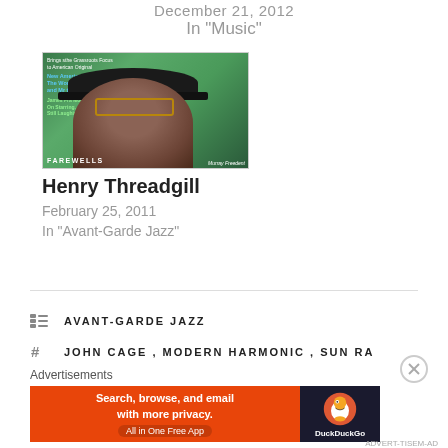December 21, 2012
In "Music"
[Figure (photo): Magazine cover featuring a close-up portrait of a man wearing a wide-brimmed hat and sunglasses, with text overlays including 'FAREWELLS' and various article headlines in blue and green text on a dark green background]
Henry Threadgill
February 25, 2011
In "Avant-Garde Jazz"
AVANT-GARDE JAZZ
JOHN CAGE , MODERN HARMONIC , SUN RA
Advertisements
[Figure (other): DuckDuckGo advertisement banner with orange background. Text reads: Search, browse, and email with more privacy. All in One Free App. DuckDuckGo logo on dark background on right side.]